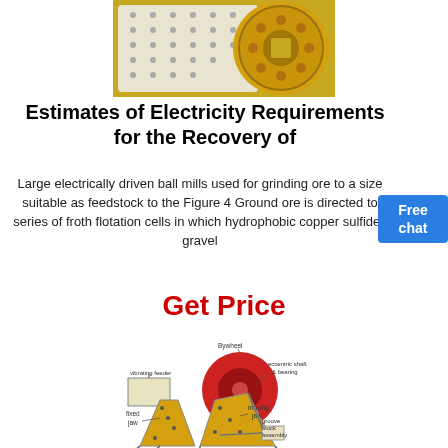[Figure (photo): Close-up photograph of a large yellow industrial ball mill with bolted white lining panels and studded surfaces]
Estimates of Electricity Requirements for the Recovery of
Large electrically driven ball mills used for grinding ore to a size suitable as feedstock to the Figure 4 Ground ore is directed to series of froth flotation cells in which hydrophobic copper sulfides gravel
Get Price
[Figure (engineering-diagram): Engineering diagram of a jaw crusher showing labeled components: Bywheel (flywheel), vibrating feeder, eccentric shaft & bearing, fixed jaw, moving jaw, groove block assembly]